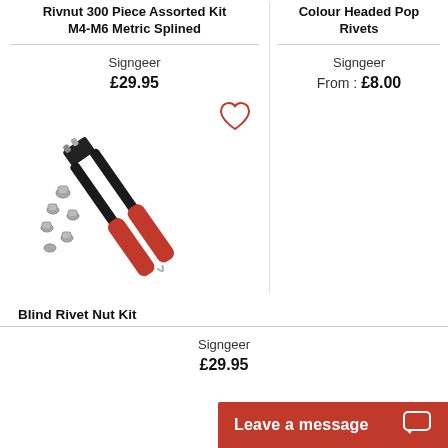Rivnut 300 Piece Assorted Kit M4-M6 Metric Splined
Colour Headed Pop Rivets
Signgeer
£29.95
Signgeer
From : £8.00
[Figure (photo): Photo of a rivet nut tool (black and red handles) with assorted rivet nuts scattered around it]
Blind Rivet Nut Kit
Signgeer
£29.95
Leave a message